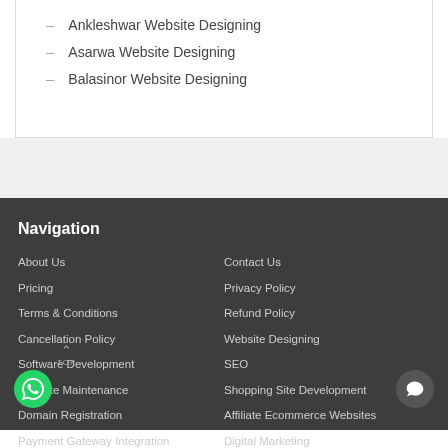– Ankleshwar Website Designing
– Asarwa Website Designing
– Balasinor Website Designing
Navigation
About Us
Pricing
Terms & Conditions
Cancellation Policy
Software Development
Website Maintenance
Domain Registration
Payment Gateway Integration
Branding
Contact Us
Privacy Policy
Refund Policy
Website Designing
SEO
Shopping Site Development
Affiliate Ecommerce Websites
Digital Marketing